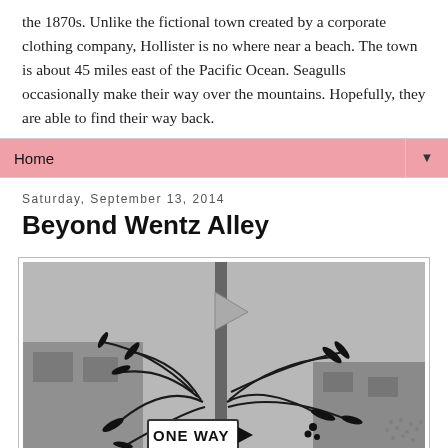the 1870s. Unlike the fictional town created by a corporate clothing company, Hollister is no where near a beach. The town is about 45 miles east of the Pacific Ocean. Seagulls occasionally make their way over the mountains. Hopefully, they are able to find their way back.
Home ▼
Saturday, September 13, 2014
Beyond Wentz Alley
[Figure (photo): Black and white photograph showing a street scene with a pole, a flag, plant branches, a ONE WAY sign with arrow, and buildings in the background.]